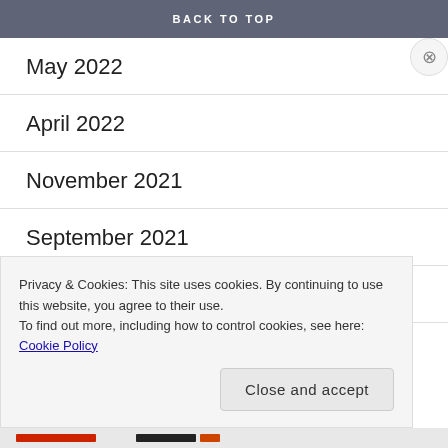BACK TO TOP
May 2022
April 2022
November 2021
September 2021
July 2021
June 2021
Privacy & Cookies: This site uses cookies. By continuing to use this website, you agree to their use. To find out more, including how to control cookies, see here: Cookie Policy
Close and accept